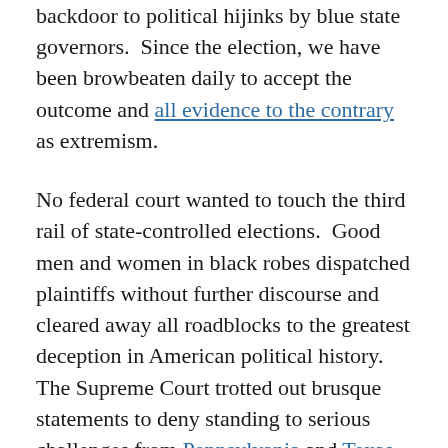…and letting politicians and lawyers use the backdoor to political hijinks by blue state governors.  Since the election, we have been browbeaten daily to accept the outcome and all evidence to the contrary as extremism.
No federal court wanted to touch the third rail of state-controlled elections.  Good men and women in black robes dispatched plaintiffs without further discourse and cleared away all roadblocks to the greatest deception in American political history.  The Supreme Court trotted out brusque statements to deny standing to serious challenges from Pennsylvania and Texas, sounding the death knell to a continued Trump presidency.